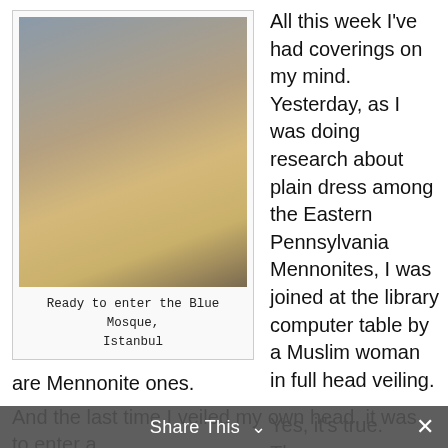[Figure (photo): A woman wearing a leopard-print headscarf and yellow cardigan, smiling, photographed outdoors near a historic stone building. Caption: Ready to enter the Blue Mosque, Istanbul]
Ready to enter the Blue Mosque, Istanbul
All this week I've had coverings on my mind. Yesterday, as I was doing research about plain dress among the Eastern Pennsylvania Mennonites, I was joined at the library computer table by a Muslim woman in full head veiling.
Yes, it's true. There are more Muslim head veilings at Eastern Mennonite University these days than there are Mennonite ones.
And the last time I veiled my own head, it was to enter a
Share This  ✕